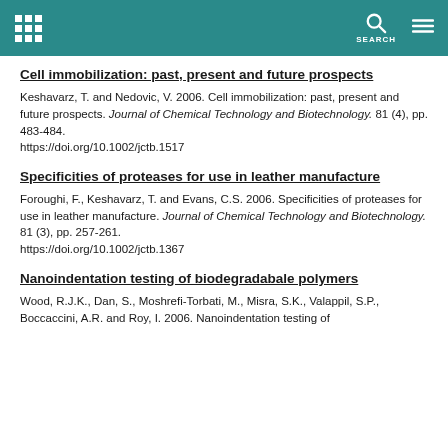SEARCH
Cell immobilization: past, present and future prospects
Keshavarz, T. and Nedovic, V. 2006. Cell immobilization: past, present and future prospects. Journal of Chemical Technology and Biotechnology. 81 (4), pp. 483-484. https://doi.org/10.1002/jctb.1517
Specificities of proteases for use in leather manufacture
Foroughi, F., Keshavarz, T. and Evans, C.S. 2006. Specificities of proteases for use in leather manufacture. Journal of Chemical Technology and Biotechnology. 81 (3), pp. 257-261. https://doi.org/10.1002/jctb.1367
Nanoindentation testing of biodegradabale polymers
Wood, R.J.K., Dan, S., Moshrefi-Torbati, M., Misra, S.K., Valappil, S.P., Boccaccini, A.R. and Roy, I. 2006. Nanoindentation testing of